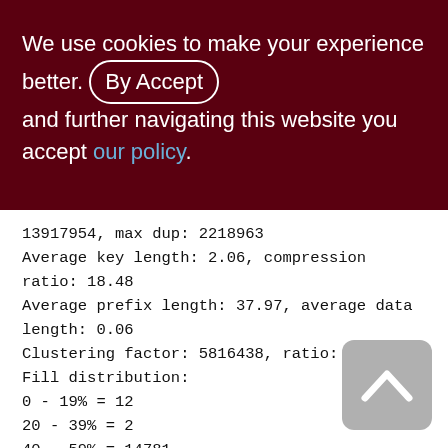We use cookies to make your experience better. By accepting and further navigating this website you accept our policy.
13917954, max dup: 2218963
Average key length: 2.06, compression ratio: 18.48
Average prefix length: 37.97, average data length: 0.06
Clustering factor: 5816438, ratio: 0.42
Fill distribution:
0 - 19% = 12
20 - 39% = 2
40 - 59% = 14781
60 - 79% = 271
80 - 99% = 1925